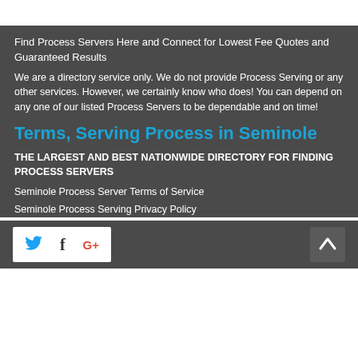Find Process Servers Here and Connect for Lowest Fee Quotes and Guaranteed Results
We are a directory service only. We do not provide Process Serving or any other services. However, we certainly know who does! You can depend on any one of our listed Process Servers to be dependable and on time!
Terms, Serving Process in Seminole
THE LARGEST AND BEST NATIONWIDE DIRECTORY FOR FINDING PROCESS SERVERS
Seminole Process Server Terms of Service
Seminole Process Serving Privacy Policy
[Figure (other): Social media icons bar with Twitter, Facebook, and Google+ icons on white background, and a dark up-arrow back-to-top button]